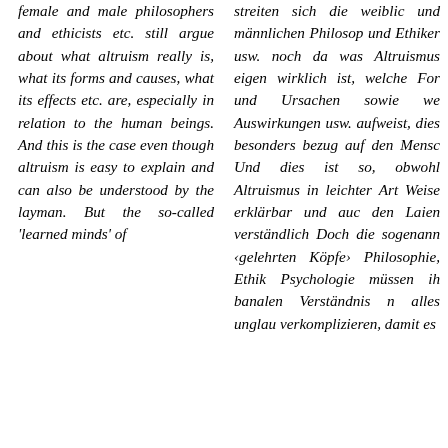female and male philosophers and ethicists etc. still argue about what altruism really is, what its forms and causes, what its effects etc. are, especially in relation to the human beings. And this is the case even though altruism is easy to explain and can also be understood by the layman. But the so-called 'learned minds' of
streiten sich die weiblichen und männlichen Philosophen und Ethiker usw. noch darum, was Altruismus eigentlich wirklich ist, welche Formen und Ursachen sowie welche Auswirkungen usw. er aufweist, dies besonders in bezug auf den Menschen. Und dies ist so, obwohl der Altruismus in leichter Art und Weise erklärbar und auch für den Laien verständlich ist. Doch die sogenannten ‹gelehrten Köpfe› der Philosophie, Ethik und Psychologie müssen ihr banales Verständnis mit alles unglaublich verkomplizieren, damit es